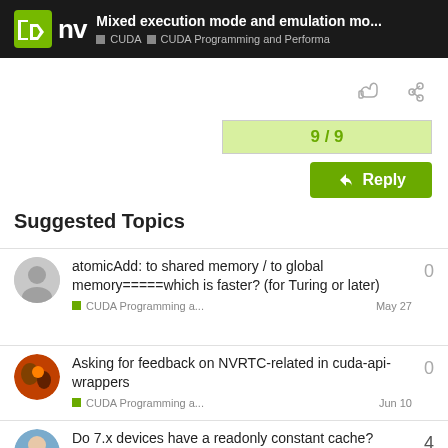Mixed execution mode and emulation mo... | CUDA | CUDA Programming and Performa
9 / 9
Reply
Suggested Topics
atomicAdd: to shared memory / to global memory=====which is faster? (for Turing or later) | CUDA Programming a... | May 27 | 0
Asking for feedback on NVRTC-related in cuda-api-wrappers | CUDA Programming a... | Jun 10 | 0
Do 7.x devices have a readonly constant cache? | 4